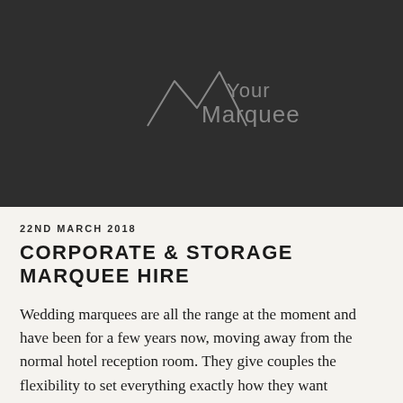[Figure (logo): Your Marquee logo on dark background — mountain/marquee outline shape in grey with 'Your Marquee' text]
22ND MARCH 2018
CORPORATE & STORAGE MARQUEE HIRE
Wedding marquees are all the range at the moment and have been for a few years now, moving away from the normal hotel reception room. They give couples the flexibility to set everything exactly how they want